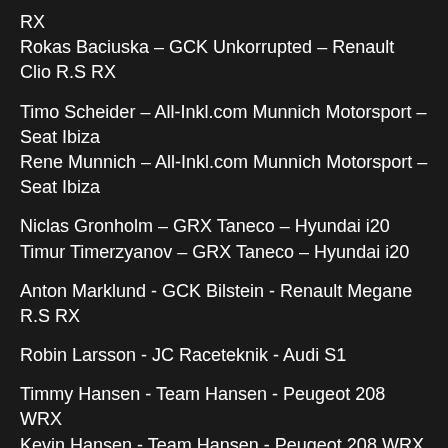RX
Rokas Baciuska – GCK Unkorrupted – Renault Clio R.S RX
Timo Scheider – All-Inkl.com Munnich Motorsport – Seat Ibiza
Rene Munnich – All-Inkl.com Munnich Motorsport – Seat Ibiza
Niclas Gronholm – GRX Taneco – Hyundai i20
Timur Timerzyanov – GRX Taneco – Hyundai i20
Anton Marklund - GCK Bilstein - Renault Megane R.S RX
Robin Larsson - JC Raceteknik - Audi S1
Timmy Hansen - Team Hansen - Peugeot 208 WRX
Kevin Hansen - Team Hansen - Peugeot 208 WRX
Johan Kristoffersson - Volkswagen Dealer Team BAUHAUS - Volkswagen Polo GTi RX
Andreas Bakkerud - Monster Energy GCK RX Cartel -